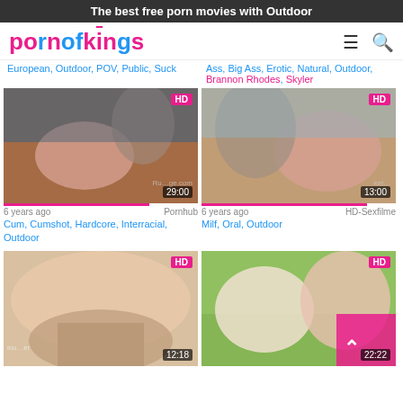The best free porn movies with Outdoor
[Figure (screenshot): PORNOFKINGS logo with hamburger menu and search icons]
European, Outdoor, POV, Public, Suck
Ass, Big Ass, Erotic, Natural, Outdoor, Brannon Rhodes, Skyler
[Figure (photo): Video thumbnail showing outdoor adult content, 29:00 duration, HD badge]
[Figure (photo): Video thumbnail showing outdoor adult content, 13:00 duration, HD badge]
6 years ago   Pornhub
6 years ago   HD-Sexfilme
Cum, Cumshot, Hardcore, Interracial, Outdoor
Milf, Oral, Outdoor
[Figure (photo): Video thumbnail showing adult content, 12:18 duration, HD badge]
[Figure (photo): Video thumbnail showing outdoor adult content, 22:22 duration, HD badge]